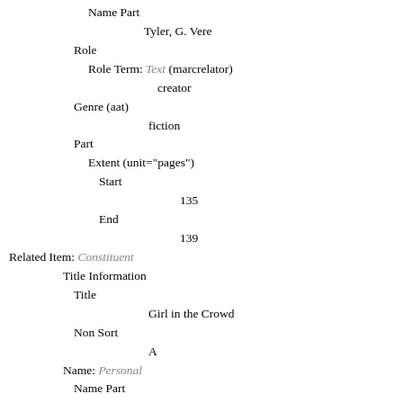Name Part
        Tyler, G. Vere
    Role
      Role Term: Text (marcrelator)
              creator
    Genre (aat)
            fiction
    Part
      Extent (unit="pages")
        Start
                135
        End
                139
Related Item: Constituent
        Title Information
          Title
                  Girl in the Crowd
          Non Sort
                A
        Name: Personal
          Name Part
                  Flexner, Hortense
          Role
            Role Term: Text (marcrelator)
                    creator